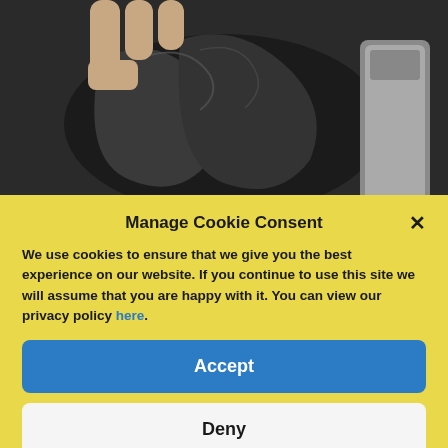[Figure (photo): Close-up photo of a person's hand holding open a black plastic bag or packaging material, with metallic/silver item visible on the right side. Background is dark.]
THE
Manage Cookie Consent
We use cookies to ensure that we give you the best experience on our website. If you continue to use this site we will assume that you are happy with it. You can view our privacy policy here.
Accept
Deny